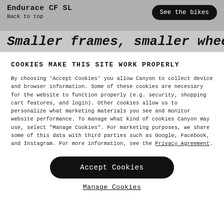Endurace CF SL
Back to top
See the bikes
Smaller frames, smaller wheels
COOKIES MAKE THIS SITE WORK PROPERLY
By choosing 'Accept Cookies' you allow Canyon to collect device and browser information. Some of these cookies are necessary for the website to function properly (e.g. security, shopping cart features, and login). Other cookies allow us to personalize what marketing materials you see and monitor website performance. To manage what kind of cookies Canyon may use, select "Manage Cookies". For marketing purposes, we share some of this data with third parties such as Google, Facebook, and Instagram. For more information, see the Privacy Agreement.
Accept Cookies
Manage Cookies